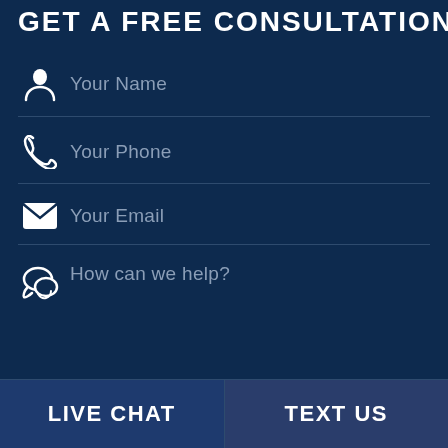GET A FREE CONSULTATION
Your Name
Your Phone
Your Email
How can we help?
LIVE CHAT
TEXT US